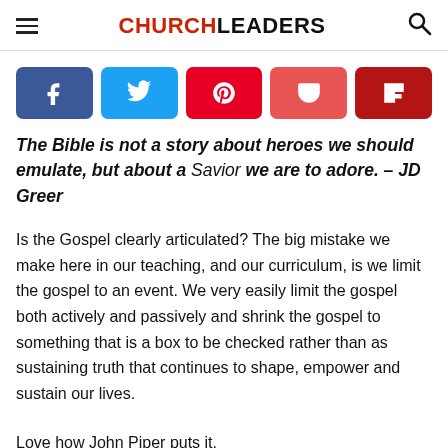CHURCHLEADERS
[Figure (infographic): Row of five social sharing buttons: Facebook (dark blue), Twitter (light blue), Pinterest (red), Pocket (light red/pink), Flipboard (dark red)]
The Bible is not a story about heroes we should emulate, but about a Savior we are to adore. – JD Greer
Is the Gospel clearly articulated? The big mistake we make here in our teaching, and our curriculum, is we limit the gospel to an event. We very easily limit the gospel both actively and passively and shrink the gospel to something that is a box to be checked rather than as sustaining truth that continues to shape, empower and sustain our lives.
Love how John Piper puts it.